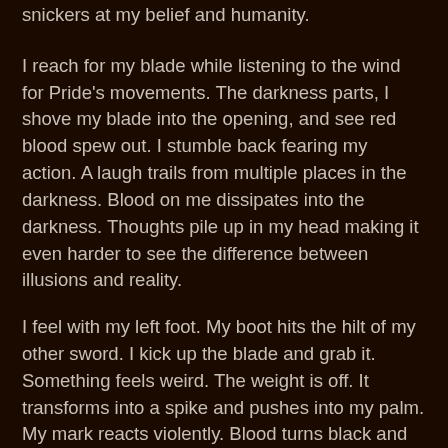snickers at my belief and humanity.
I reach for my blade while listening to the wind for Pride's movements. The darkness parts, I shove my blade into the opening, and see red blood spew out. I stumble back fearing my action. A laugh trails from multiple places in the darkness. Blood on me dissipates into the darkness. Thoughts pile up in my head making it even harder to see the difference between illusions and reality.
I feel with my left foot. My boot hits the hilt of my other sword. I kick up the blade and grab it. Something feels weird. The weight is off. It transforms into a spike and pushes into my palm. My mark reacts violently. Blood turns black and crystallizes into a blade. I feel my mind slipping underneath the taint.
The blade absorbs the darkness. Pride stares at me with a smug gaze. He rushes me biting and clawing like a wild beast. My flesh begins to crack and memories begin